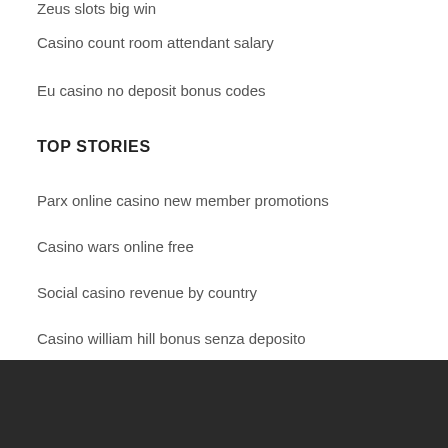Zeus slots big win
Casino count room attendant salary
Eu casino no deposit bonus codes
TOP STORIES
Parx online casino new member promotions
Casino wars online free
Social casino revenue by country
Casino william hill bonus senza deposito
Adaptateur planche a roulette bugaboo cameleon